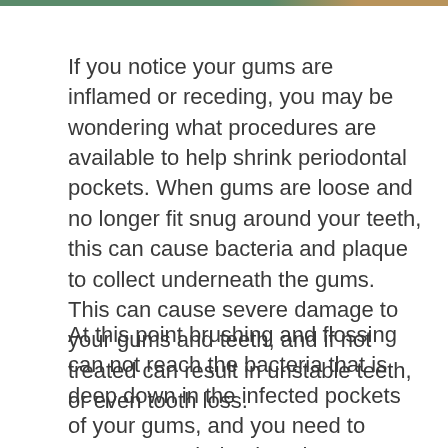If you notice your gums are inflamed or receding, you may be wondering what procedures are available to help shrink periodontal pockets. When gums are loose and no longer fit snug around your teeth, this can cause bacteria and plaque to collect underneath the gums. This can cause severe damage to your gums and teeth, and if not treated can result in unstable teeth, or even tooth loss.
At this point brushing and flossing can not reach the bacteria that is deep down in the infected pockets of your gums, and you need to contact a periodontist. There are a few different procedures available to